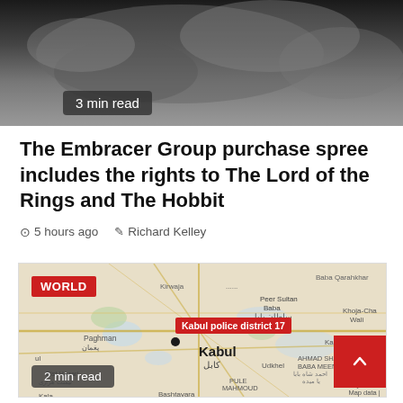[Figure (photo): Dark close-up photo with a '3 min read' badge overlay at bottom left]
The Embracer Group purchase spree includes the rights to The Lord of the Rings and The Hobbit
5 hours ago   Richard Kelley
[Figure (map): Google map showing Kabul area with 'WORLD' badge and 'Kabul police district 17' marker, '2 min read' badge at bottom left, scroll-to-top button at bottom right]